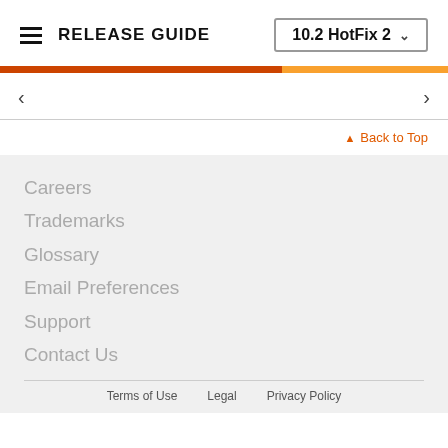RELEASE GUIDE  10.2 HotFix 2
< >
▲ Back to Top
Careers
Trademarks
Glossary
Email Preferences
Support
Contact Us
Terms of Use   Legal   Privacy Policy